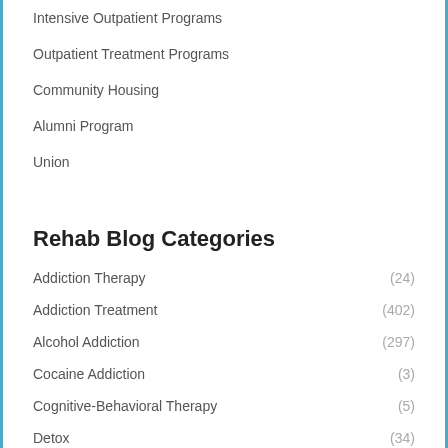Intensive Outpatient Programs
Outpatient Treatment Programs
Community Housing
Alumni Program
Union
Rehab Blog Categories
Addiction Therapy (24)
Addiction Treatment (402)
Alcohol Addiction (297)
Cocaine Addiction (3)
Cognitive-Behavioral Therapy (5)
Detox (34)
Drug Addiction (316)
Drug Rehab (4)